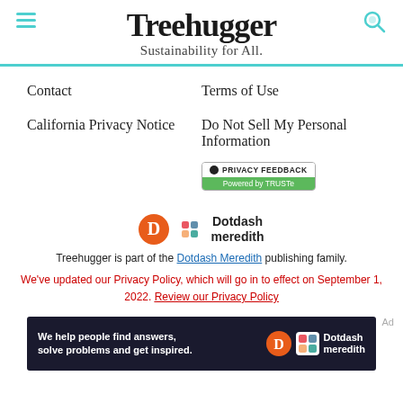Treehugger — Sustainability for All.
Contact
Terms of Use
California Privacy Notice
Do Not Sell My Personal Information
[Figure (logo): Privacy Feedback badge powered by TRUSTe]
[Figure (logo): Dotdash Meredith logo with orange D and colorful diamond pattern]
Treehugger is part of the Dotdash Meredith publishing family.
We've updated our Privacy Policy, which will go in to effect on September 1, 2022. Review our Privacy Policy
[Figure (other): Ad banner: We help people find answers, solve problems and get inspired. Dotdash meredith logo.]